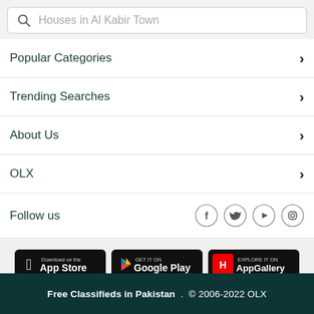Houses in Al Kabir Town
Popular Categories
Trending Searches
About Us
OLX
Follow us
[Figure (screenshot): App store badges: Download on the App Store, GET IT ON Google Play, EXPLORE IT ON AppGallery]
Free Classifieds in Pakistan . © 2006-2022 OLX